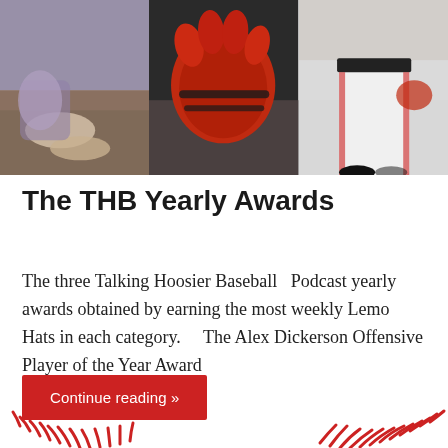[Figure (photo): Three-panel photo strip showing baseball players: left panel shows a player sliding, middle panel shows a red and black baseball glove, right panel shows a pitcher's lower body in white uniform]
The THB Yearly Awards
The three Talking Hoosier Baseball  Podcast yearly awards obtained by earning the most weekly Lemo Hats in each category.    The Alex Dickerson Offensive Player of the Year Award
Continue reading »
[Figure (illustration): Red baseball stitching decorative graphic at bottom of page]